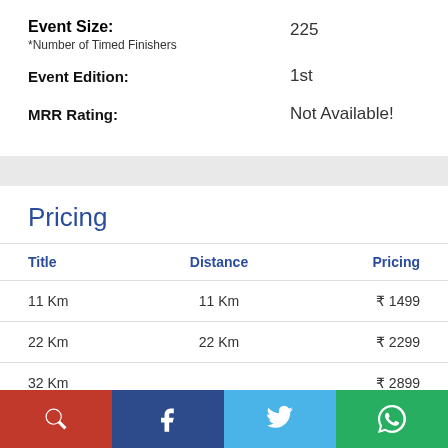Event Size:
*Number of Timed Finishers
225
Event Edition:
1st
MRR Rating:
Not Available!
Pricing
| Title | Distance | Pricing |
| --- | --- | --- |
| 11 Km | 11 Km | ₹ 1499 |
| 22 Km | 22 Km | ₹ 2299 |
| 32 Km |  | ₹ 2899 |
| 42 Km |  | ₹ 3399 |